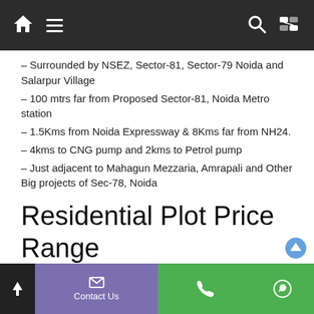Navigation bar with home, menu, search, and random icons
– Surrounded by NSEZ, Sector-81, Sector-79 Noida and Salarpur Village
– 100 mtrs far from Proposed Sector-81, Noida Metro station
– 1.5Kms from Noida Expressway & 8Kms far from NH24.
– 4kms to CNG pump and 2kms to Petrol pump
– Just adjacent to Mahagun Mezzaria, Amrapali and Other Big projects of Sec-78, Noida
Residential Plot Price Range
Price started- 20,000 per square yard
Contact Us | Phone | WhatsApp